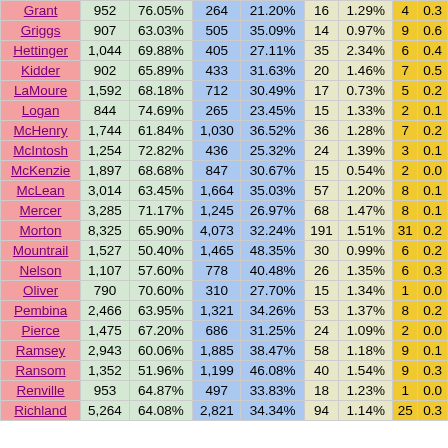| County |  | % |  | % |  | % |  | % |
| --- | --- | --- | --- | --- | --- | --- | --- | --- |
| Grant | 952 | 76.05% | 264 | 21.20% | 16 | 1.29% | 4 | 0.3 |
| Griggs | 907 | 63.03% | 505 | 35.09% | 14 | 0.97% | 9 | 0.6 |
| Hettinger | 1,044 | 69.88% | 405 | 27.11% | 35 | 2.34% | 6 | 0.4 |
| Kidder | 902 | 65.89% | 433 | 31.63% | 20 | 1.46% | 7 | 0.5 |
| LaMoure | 1,592 | 68.18% | 712 | 30.49% | 17 | 0.73% | 5 | 0.2 |
| Logan | 844 | 74.69% | 265 | 23.45% | 15 | 1.33% | 2 | 0.1 |
| McHenry | 1,744 | 61.84% | 1,030 | 36.52% | 36 | 1.28% | 7 | 0.2 |
| McIntosh | 1,254 | 72.82% | 436 | 25.32% | 24 | 1.39% | 3 | 0.1 |
| McKenzie | 1,897 | 68.68% | 847 | 30.67% | 15 | 0.54% | 2 | 0.0 |
| McLean | 3,014 | 63.45% | 1,664 | 35.03% | 57 | 1.20% | 8 | 0.1 |
| Mercer | 3,285 | 71.17% | 1,245 | 26.97% | 68 | 1.47% | 8 | 0.1 |
| Morton | 8,325 | 65.90% | 4,073 | 32.24% | 191 | 1.51% | 31 | 0.2 |
| Mountrail | 1,527 | 50.40% | 1,465 | 48.35% | 30 | 0.99% | 6 | 0.2 |
| Nelson | 1,107 | 57.60% | 778 | 40.48% | 26 | 1.35% | 6 | 0.3 |
| Oliver | 790 | 70.60% | 310 | 27.70% | 15 | 1.34% | 1 | 0.0 |
| Pembina | 2,466 | 63.95% | 1,321 | 34.26% | 53 | 1.37% | 8 | 0.2 |
| Pierce | 1,475 | 67.20% | 686 | 31.25% | 24 | 1.09% | 2 | 0.0 |
| Ramsey | 2,943 | 60.06% | 1,885 | 38.47% | 58 | 1.18% | 9 | 0.1 |
| Ransom | 1,352 | 51.96% | 1,199 | 46.08% | 40 | 1.54% | 9 | 0.3 |
| Renville | 953 | 64.87% | 497 | 33.83% | 18 | 1.23% | 1 | 0.0 |
| Richland | 5,264 | 64.08% | 2,821 | 34.34% | 94 | 1.14% | 25 | 0.3 |